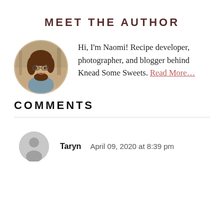MEET THE AUTHOR
[Figure (photo): Circular cropped portrait photo of Naomi, a young woman with curly brown hair and glasses, smiling, with an outdoor background.]
Hi, I'm Naomi! Recipe developer, photographer, and blogger behind Knead Some Sweets. Read More…
COMMENTS
[Figure (illustration): Generic user avatar icon — a gray circle with a simple silhouette of a person (head and shoulders).]
Taryn    April 09, 2020 at 8:39 pm